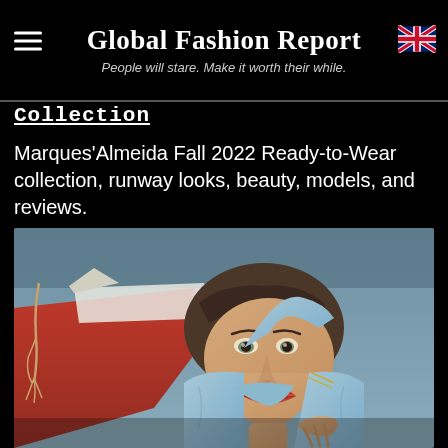Global Fashion Report
People will stare. Make it worth their while.
Collection
Marques'Almeida Fall 2022 Ready-to-Wear collection, runway looks, beauty, models, and reviews.
[Figure (photo): A model with red lipstick lying against a red and white boat, wearing a light blue denim jacket, with a tassel rope visible on the left.]